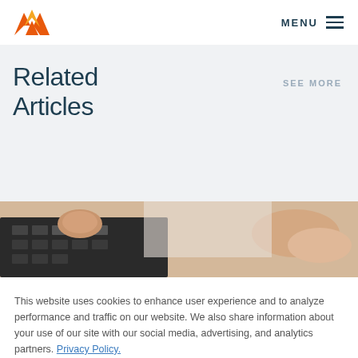MENU
Related Articles
SEE MORE
[Figure (photo): Close-up photo of hands pressing keys on a calculator]
This website uses cookies to enhance user experience and to analyze performance and traffic on our website. We also share information about your use of our site with our social media, advertising, and analytics partners. Privacy Policy.
Accept